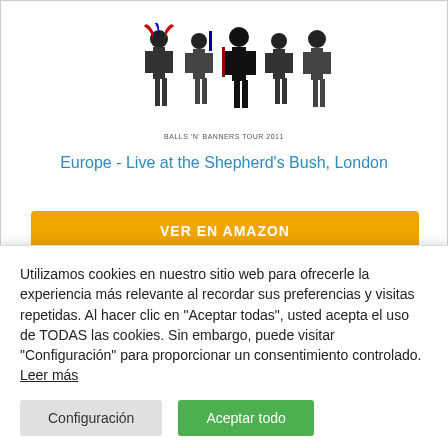[Figure (photo): Band group photo silhouette for Balls 'N' Banners Tour 2011]
BALLS 'N' BANNERS TOUR 2011
Europe - Live at the Shepherd's Bush, London
[Figure (other): VER EN AMAZON orange button]
Utilizamos cookies en nuestro sitio web para ofrecerle la experiencia más relevante al recordar sus preferencias y visitas repetidas. Al hacer clic en "Aceptar todas", usted acepta el uso de TODAS las cookies. Sin embargo, puede visitar "Configuración" para proporcionar un consentimiento controlado. Leer más
Configuración
Aceptar todo